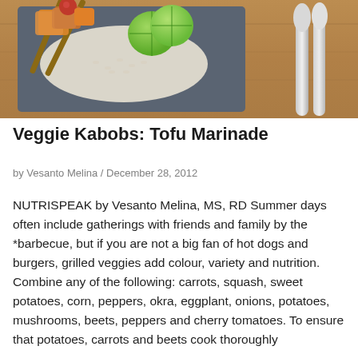[Figure (photo): Food photo showing veggie kabobs on a dark gray plate with rice, lime wedges, and skewers, placed on a wooden table with silverware (spoon and knife) to the right]
Veggie Kabobs: Tofu Marinade
by Vesanto Melina / December 28, 2012
NUTRISPEAK by Vesanto Melina, MS, RD Summer days often include gatherings with friends and family by the *barbecue, but if you are not a big fan of hot dogs and burgers, grilled veggies add colour, variety and nutrition. Combine any of the following: carrots, squash, sweet potatoes, corn, peppers, okra, eggplant, onions, potatoes, mushrooms, beets, peppers and cherry tomatoes. To ensure that potatoes, carrots and beets cook thoroughly